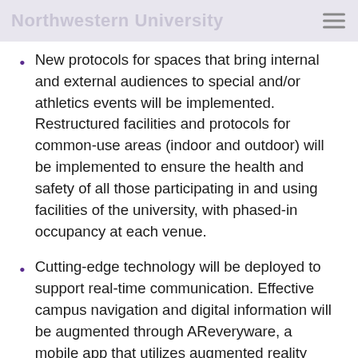Northwestern University
New protocols for spaces that bring internal and external audiences to special and/or athletics events will be implemented. Restructured facilities and protocols for common-use areas (indoor and outdoor) will be implemented to ensure the health and safety of all those participating in and using facilities of the university, with phased-in occupancy at each venue.
Cutting-edge technology will be deployed to support real-time communication. Effective campus navigation and digital information will be augmented through AReveryware, a mobile app that utilizes augmented reality technology to disseminate distancing protocols and occupancy status (e.g., upon entry/exit, occupancy and in hallways). Through this technology, videos will provide real-time updates on occupancy levels in